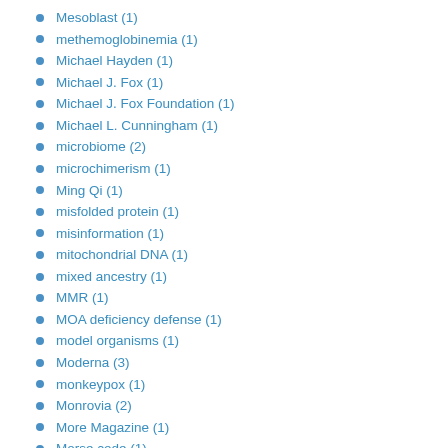Mesoblast (1)
methemoglobinemia (1)
Michael Hayden (1)
Michael J. Fox (1)
Michael J. Fox Foundation (1)
Michael L. Cunningham (1)
microbiome (2)
microchimerism (1)
Ming Qi (1)
misfolded protein (1)
misinformation (1)
mitochondrial DNA (1)
mixed ancestry (1)
MMR (1)
MOA deficiency defense (1)
model organisms (1)
Moderna (3)
monkeypox (1)
Monrovia (2)
More Magazine (1)
Morse code (1)
mosaic embryos (1)
mosaic loss of Y (1)
mosquito (1)
mossy foot (1)
mouse experiment (1)
mouse model (1)